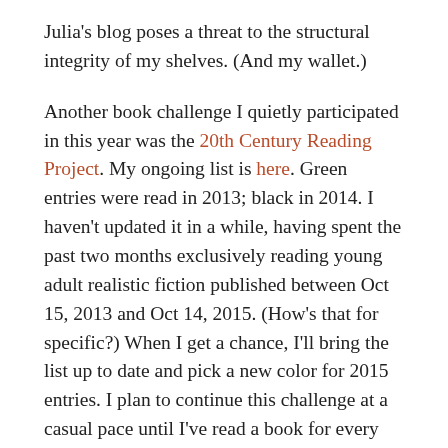Julia's blog poses a threat to the structural integrity of my shelves. (And my wallet.)
Another book challenge I quietly participated in this year was the 20th Century Reading Project. My ongoing list is here. Green entries were read in 2013; black in 2014. I haven't updated it in a while, having spent the past two months exclusively reading young adult realistic fiction published between Oct 15, 2013 and Oct 14, 2015. (How's that for specific?) When I get a chance, I'll bring the list up to date and pick a new color for 2015 entries. I plan to continue this challenge at a casual pace until I've read a book for every year, no matter how long it takes. I'm enjoying seeing the clusters of books, such as the three (very different) novels published in 1963 I read in 2013, quite by chance.
Bonus book report: What Charlotte's kids got for